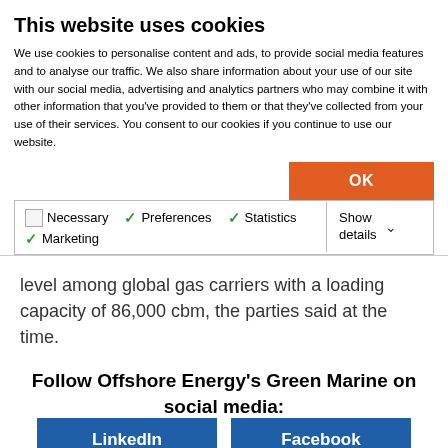This website uses cookies
We use cookies to personalise content and ads, to provide social media features and to analyse our traffic. We also share information about your use of our site with our social media, advertising and analytics partners who may combine it with other information that you've provided to them or that they've collected from your use of their services. You consent to our cookies if you continue to use our website.
OK
Necessary  Preferences  Statistics  Marketing  Show details
level among global gas carriers with a loading capacity of 86,000 cbm, the parties said at the time.
Follow Offshore Energy's Green Marine on social media:
LinkedIn  Facebook